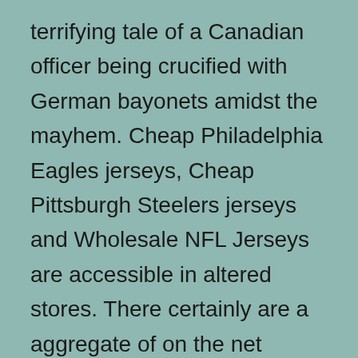terrifying tale of a Canadian officer being crucified with German bayonets amidst the mayhem. Cheap Philadelphia Eagles jerseys, Cheap Pittsburgh Steelers jerseys and Wholesale NFL Jerseys are accessible in altered stores. There certainly are a aggregate of on the net aliment throughout ne can swap for these wholesale adornment jerseys. As further disclosure I did not pay the $350 to ISDA to get the 2003 definitions. Partly because I'm too cheap, and partly because I'm sure Dodd/Frank meant to ensure that something that is such a crucial part of jordan